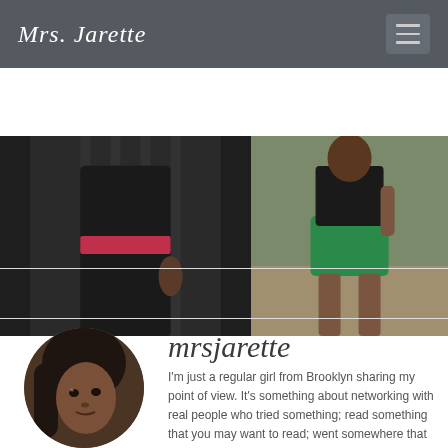Mrs. Jarette
[Figure (photo): Two photos side by side: left shows a person in black outfit with red belt, right shows a person in green skirt walking in a hallway]
[Figure (other): Social sharing icons: Facebook, Twitter, Pinterest, WhatsApp, Email]
[Figure (photo): Circular profile photo of a woman with dark hair]
mrsjarette
I'm just a regular girl from Brooklyn sharing my point of view. It's something about networking with real people who tried something; read something that you may want to read; went somewhere that you may want to go based off